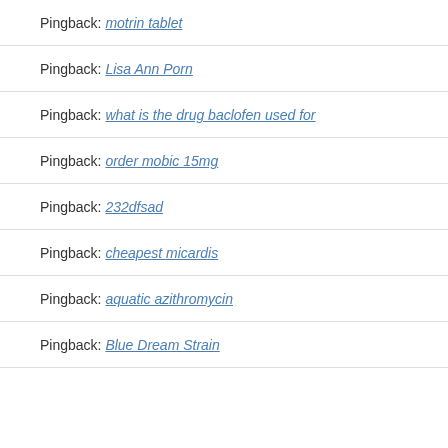Pingback: motrin tablet
Pingback: Lisa Ann Porn
Pingback: what is the drug baclofen used for
Pingback: order mobic 15mg
Pingback: 232dfsad
Pingback: cheapest micardis
Pingback: aquatic azithromycin
Pingback: Blue Dream Strain